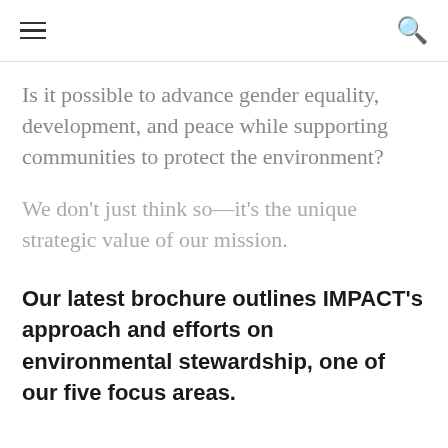≡ [hamburger menu] [search icon]
Is it possible to advance gender equality, development, and peace while supporting communities to protect the environment?
We don't just think so—it's the unique strategic value of our mission.
Our latest brochure outlines IMPACT's approach and efforts on environmental stewardship, one of our five focus areas.